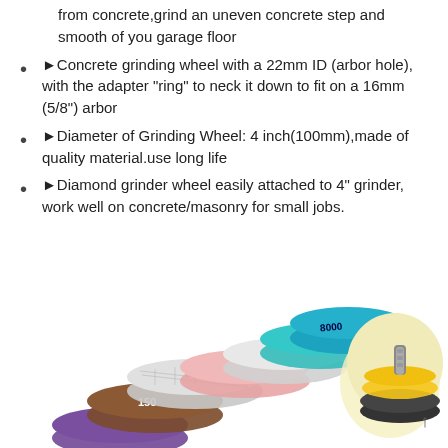from concrete,grind an uneven concrete step and smooth of you garage floor
►Concrete grinding wheel with a 22mm ID (arbor hole), with the adapter "ring" to neck it down to fit on a 16mm (5/8") arbor
►Diameter of Grinding Wheel: 4 inch(100mm),made of quality material.use long life
►Diamond grinder wheel easily attached to 4" grinder, work well on concrete/masonry for small jobs.
[Figure (photo): Multiple colorful diamond polishing pads/grinding wheels fanned out, showing various grits (150, 8000, etc.), along with a backing pad with threaded mount, on a white background.]